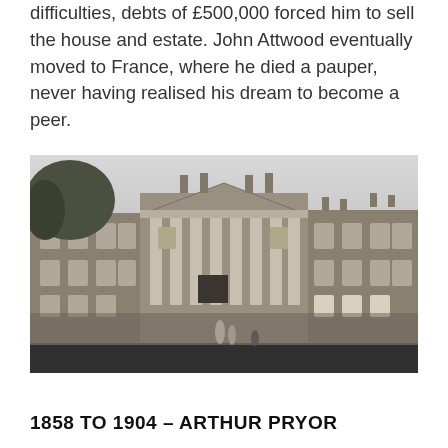difficulties, debts of £500,000 forced him to sell the house and estate. John Attwood eventually moved to France, where he died a pauper, never having realised his dream to become a peer.
[Figure (photo): Black and white photograph of a large Georgian country house with a prominent columned portico in the centre, flanked by wings. A few figures are visible on the lawn in front.]
1858 TO 1904 – ARTHUR PRYOR